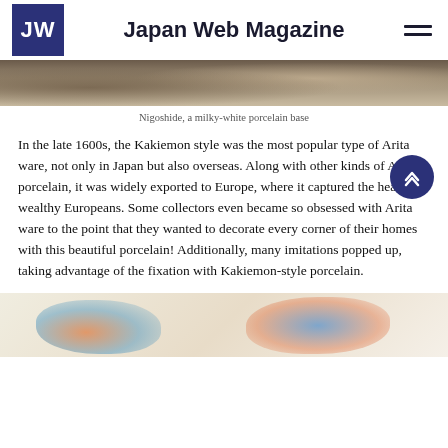JW — Japan Web Magazine
[Figure (photo): Top portion of a photograph showing Nigoshide, a milky-white porcelain base — close-up detail of ceramic surface]
Nigoshide, a milky-white porcelain base
In the late 1600s, the Kakiemon style was the most popular type of Arita ware, not only in Japan but also overseas. Along with other kinds of Arita porcelain, it was widely exported to Europe, where it captured the hearts of wealthy Europeans. Some collectors even became so obsessed with Arita ware to the point that they wanted to decorate every corner of their homes with this beautiful porcelain! Additionally, many imitations popped up, taking advantage of the fixation with Kakiemon-style porcelain.
[Figure (photo): Bottom portion showing colorful Kakiemon-style porcelain figurines with blue, orange and red decorative patterns on a light background]